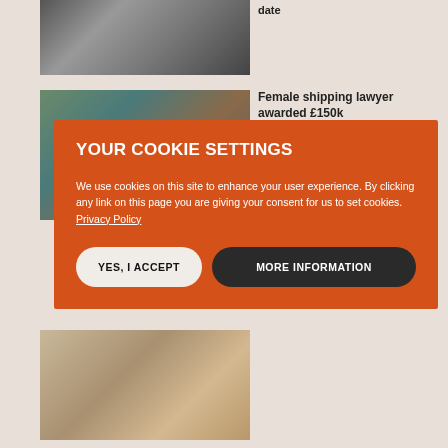[Figure (photo): Black and white photo of person at a computer/desk, partially cropped at top]
date
[Figure (photo): Color photo of group of people, shipping/legal context]
Female shipping lawyer awarded £150k
YOUR COOKIE SETTINGS
We use cookies on this site to enhance your user experience. By clicking any link on this page you are giving your consent for us to set cookies. Privacy Policy
YES, I ACCEPT
MORE INFORMATION
[Figure (photo): Photo of people, partially visible at bottom of page]